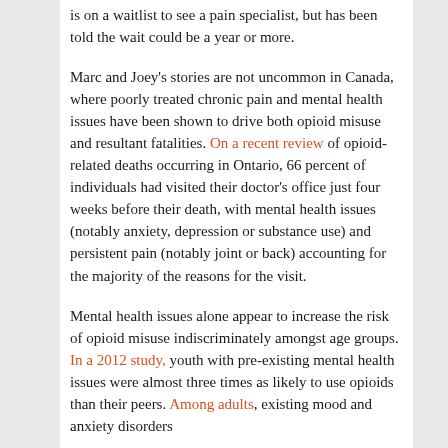is on a waitlist to see a pain specialist, but has been told the wait could be a year or more.
Marc and Joey's stories are not uncommon in Canada, where poorly treated chronic pain and mental health issues have been shown to drive both opioid misuse and resultant fatalities. On a recent review of opioid-related deaths occurring in Ontario, 66 percent of individuals had visited their doctor's office just four weeks before their death, with mental health issues (notably anxiety, depression or substance use) and persistent pain (notably joint or back) accounting for the majority of the reasons for the visit.
Mental health issues alone appear to increase the risk of opioid misuse indiscriminately amongst age groups. In a 2012 study, youth with pre-existing mental health issues were almost three times as likely to use opioids than their peers. Among adults, existing mood and anxiety disorders